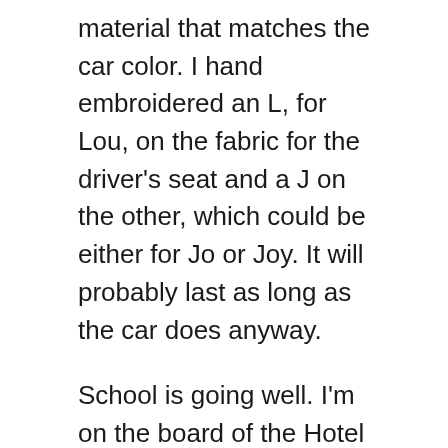material that matches the car color. I hand embroidered an L, for Lou, on the fabric for the driver's seat and a J on the other, which could be either for Jo or Joy. It will probably last as long as the car does anyway.
School is going well. I'm on the board of the Hotel Technology Club and a student member of the Hotel Sales Management Association. Between school, the clubs, magic shows, and working at Ramada, I'm pretty busy. I like working the weekend 7am-3pm shifts the best, but I also work 3pm-11pm after school. The weekend is great because it isn't so busy, there aren't as many managers around, and Bruce and I typically work together on our own. We have so much fun that I